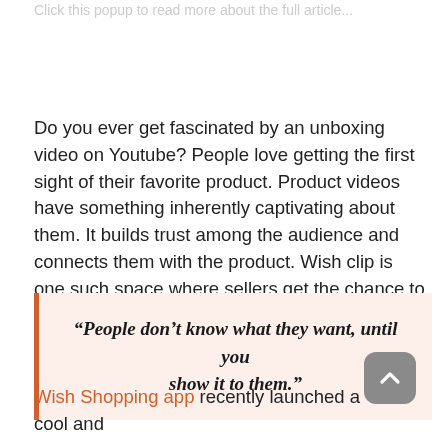Click this popup to read more about the full article...
Do you ever get fascinated by an unboxing video on Youtube? People love getting the first sight of their favorite product. Product videos have something inherently captivating about them. It builds trust among the audience and connects them with the product. Wish clip is one such space where sellers get the chance to showcase their products and win people's hearts. Steve Jobs once said,
“People don’t know what they want, until you show it to them.”
Wish Shopping app recently launched a cool and